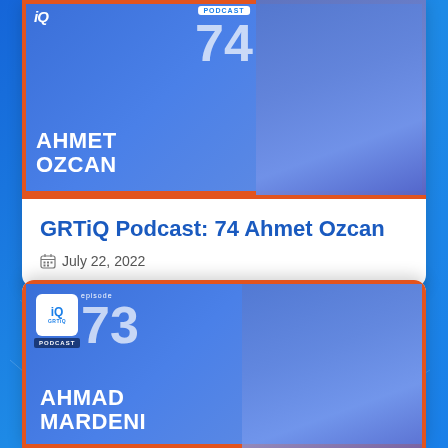[Figure (other): GRTiQ Podcast episode 74 card featuring Ahmet Ozcan. Blue gradient background with orange border frame, episode number 74, guest photo silhouette on right, guest name 'AHMET OZCAN' in white bold text on lower left.]
GRTiQ Podcast: 74 Ahmet Ozcan
July 22, 2022
[Figure (other): GRTiQ Podcast episode 73 card featuring Ahmad Mardeni. Blue gradient background with orange border frame, episode number 73, guest photo silhouette on right, guest name 'AHMAD MARDENI' in white bold text on lower left.]